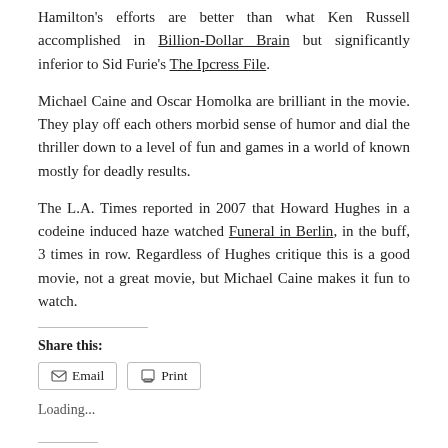Hamilton's efforts are better than what Ken Russell accomplished in Billion-Dollar Brain but significantly inferior to Sid Furie's The Ipcress File.
Michael Caine and Oscar Homolka are brilliant in the movie. They play off each others morbid sense of humor and dial the thriller down to a level of fun and games in a world of known mostly for deadly results.
The L.A. Times reported in 2007 that Howard Hughes in a codeine induced haze watched Funeral in Berlin, in the buff, 3 times in row. Regardless of Hughes critique this is a good movie, not a great movie, but Michael Caine makes it fun to watch.
Share this:
Email  Print
Loading...